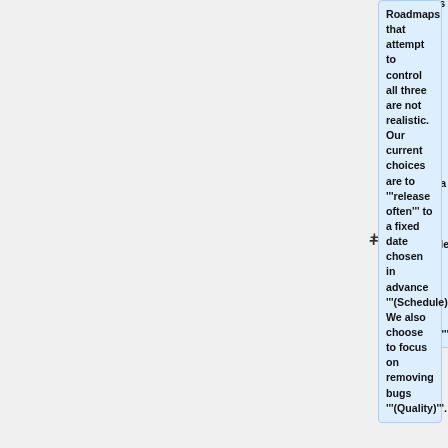Roadmaps that attempt to control all three are not realistic.  Our current choices are to '''release often''' to a fixed date chosen in advance '''(Schedule)'''.  We also choose to focus on removing bugs '''(Quality)'''.
You could argue that there isn't any roadmap for Audacity.  Instead different team members may or may not argue here for their views as to how development